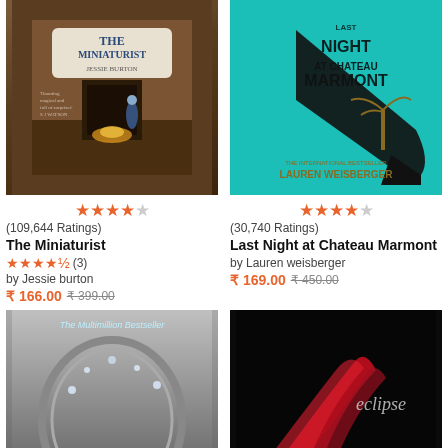[Figure (photo): Book cover of The Miniaturist by Jessie Burton - dark brown interior scene with fireplace]
★★★★☆ (109,644 Ratings)
The Miniaturist
★★★★½ (3)
by Jessie burton
₹ 166.00 ₹ 399.00
[Figure (photo): Book cover of Last Night at Chateau Marmont by Lauren Weisberger - teal background with high heel shoe]
★★★★☆ (30,740 Ratings)
Last Night at Chateau Marmont
by Lauren weisberger
₹ 169.00 ₹ 450.00
[Figure (photo): Book cover - The Multimillion Bestseller - gray metallic design with jeweled object]
[Figure (photo): Book cover of Eclipse - black background with red ribbon/feather design]